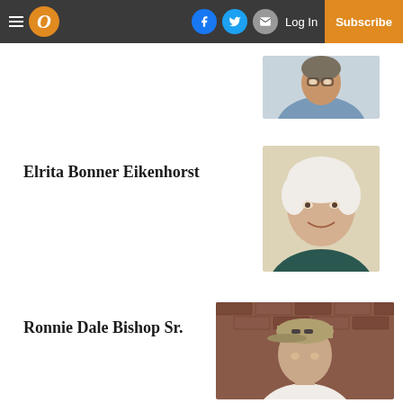Navigation bar with hamburger menu, O logo, Facebook, Twitter, Mail icons, Log In, Subscribe
[Figure (photo): Portrait photo of an older woman]
Elrita Bonner Eikenhorst
[Figure (photo): Portrait photo of elderly smiling woman with white hair]
Ronnie Dale Bishop Sr.
[Figure (photo): Photo of a man wearing a cap in front of a brick wall]